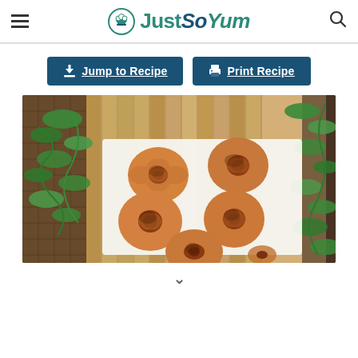JustSoYum
Jump to Recipe | Print Recipe
[Figure (photo): Several golden-brown baked pinwheel/spiral pastry rolls on a white serving board with green herb sprigs, placed on a wicker/bamboo mat background.]
v